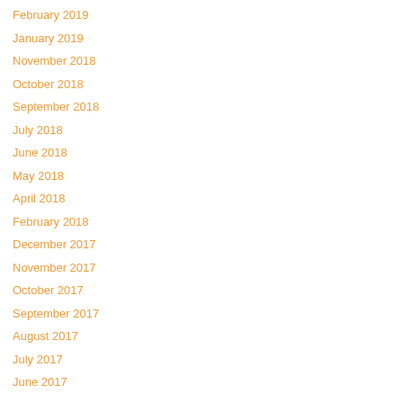February 2019
January 2019
November 2018
October 2018
September 2018
July 2018
June 2018
May 2018
April 2018
February 2018
December 2017
November 2017
October 2017
September 2017
August 2017
July 2017
June 2017